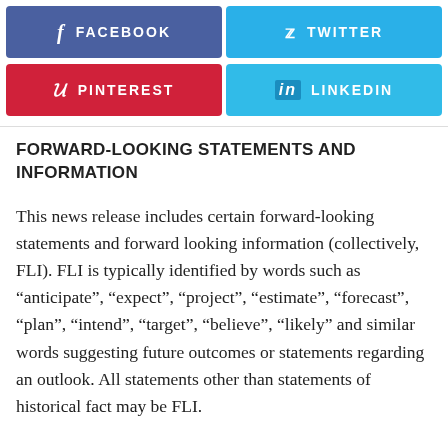[Figure (infographic): Social media share buttons: Facebook (blue-purple), Twitter (light blue), Pinterest (red), LinkedIn (light blue)]
FORWARD-LOOKING STATEMENTS AND INFORMATION
This news release includes certain forward-looking statements and forward looking information (collectively, FLI). FLI is typically identified by words such as “anticipate”, “expect”, “project”, “estimate”, “forecast”, “plan”, “intend”, “target”, “believe”, “likely” and similar words suggesting future outcomes or statements regarding an outlook. All statements other than statements of historical fact may be FLI.